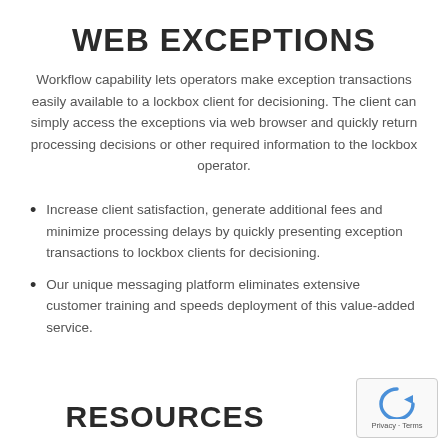WEB EXCEPTIONS
Workflow capability lets operators make exception transactions easily available to a lockbox client for decisioning. The client can simply access the exceptions via web browser and quickly return processing decisions or other required information to the lockbox operator.
Increase client satisfaction, generate additional fees and minimize processing delays by quickly presenting exception transactions to lockbox clients for decisioning.
Our unique messaging platform eliminates extensive customer training and speeds deployment of this value-added service.
RESOURCES
[Figure (other): reCAPTCHA privacy widget with circular arrow icon and Privacy - Terms label]